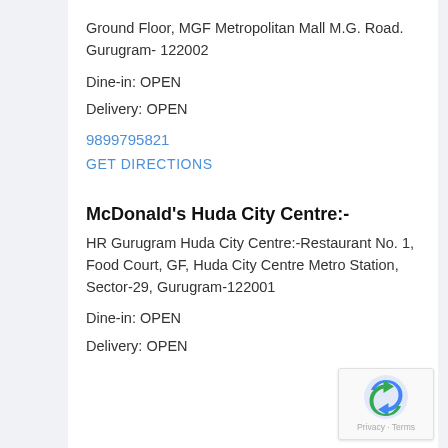Ground Floor, MGF Metropolitan Mall M.G. Road. Gurugram- 122002
Dine-in: OPEN
Delivery: OPEN
9899795821
GET DIRECTIONS
McDonald's Huda City Centre:-
HR Gurugram Huda City Centre:-Restaurant No. 1, Food Court, GF, Huda City Centre Metro Station, Sector-29, Gurugram-122001
Dine-in: OPEN
Delivery: OPEN